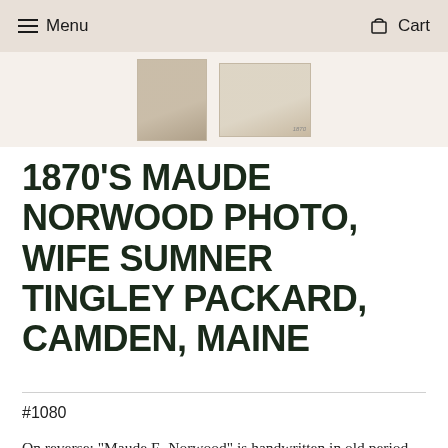Menu  Cart
[Figure (photo): Two thumbnail photographs of Victorian CDV carte de visite photographs against a beige background]
1870'S MAUDE NORWOOD PHOTO, WIFE SUMNER TINGLEY PACKARD, CAMDEN, MAINE
#1080
On reverse: "Maude E. Norwood" is handwritten in old period pencil script. Photo type: CDV Carte de Visite Photograph, Victorian. Photographer: H.A. Mills, Camden, Knox County, Maine. (known to be